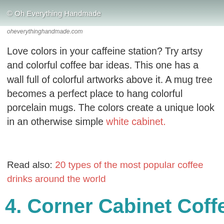[Figure (photo): Partial photo of a coffee bar area with a watermark overlay text '© Oh Everything Handmade']
oheverythinghandmade.com
Love colors in your caffeine station? Try artsy and colorful coffee bar ideas. This one has a wall full of colorful artworks above it. A mug tree becomes a perfect place to hang colorful porcelain mugs. The colors create a unique look in an otherwise simple white cabinet.
Read also: 20 types of the most popular coffee drinks around the world
4. Corner Cabinet Coffee Bar